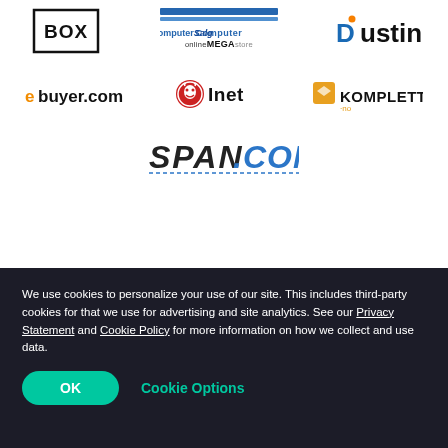[Figure (logo): BOX logo in black border box]
[Figure (logo): ComputerSalg onlineMEGAstore logo with blue stripes]
[Figure (logo): Dustin logo in blue and dark text]
[Figure (logo): ebuyer.com logo in orange text]
[Figure (logo): Inet logo with red circle icon]
[Figure (logo): KOMPLETT.no logo with orange box icon]
[Figure (logo): SPAN.COM logo in dark and blue text]
We use cookies to personalize your use of our site. This includes third-party cookies for that we use for advertising and site analytics. See our Privacy Statement and Cookie Policy for more information on how we collect and use data.
OK
Cookie Options